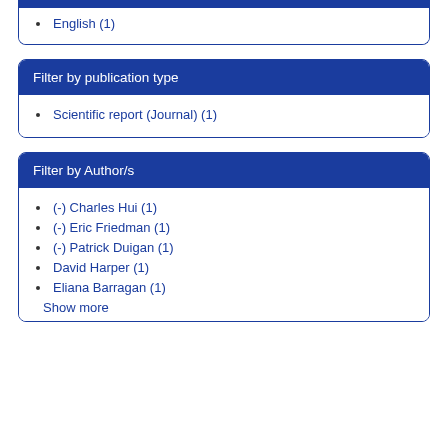English (1)
Filter by publication type
Scientific report (Journal) (1)
Filter by Author/s
(-) Charles Hui (1)
(-) Eric Friedman (1)
(-) Patrick Duigan (1)
David Harper (1)
Eliana Barragan (1)
Show more